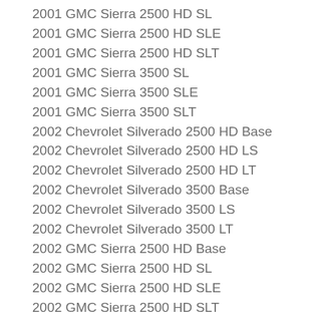2001 GMC Sierra 2500 HD SL
2001 GMC Sierra 2500 HD SLE
2001 GMC Sierra 2500 HD SLT
2001 GMC Sierra 3500 SL
2001 GMC Sierra 3500 SLE
2001 GMC Sierra 3500 SLT
2002 Chevrolet Silverado 2500 HD Base
2002 Chevrolet Silverado 2500 HD LS
2002 Chevrolet Silverado 2500 HD LT
2002 Chevrolet Silverado 3500 Base
2002 Chevrolet Silverado 3500 LS
2002 Chevrolet Silverado 3500 LT
2002 GMC Sierra 2500 HD Base
2002 GMC Sierra 2500 HD SL
2002 GMC Sierra 2500 HD SLE
2002 GMC Sierra 2500 HD SLT
2002 GMC Sierra 3500 Base
2002 GMC Sierra 3500 SL
2002 GMC Sierra 3500 SLE
2002 GMC Sierra 3500 SLT